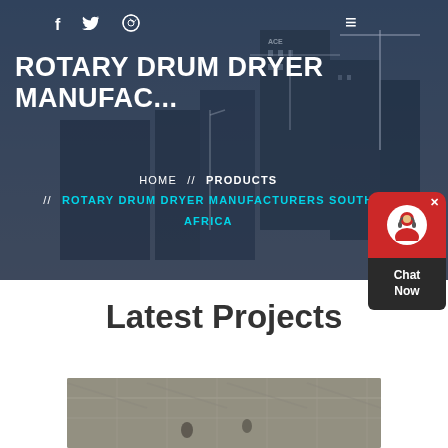[Figure (photo): Hero background: construction site with cranes and city buildings in dark blue overlay]
f  Twitter  Dribbble  ≡
ROTARY DRUM DRYER MANUFACTURERS SOUTH AFRICA
HOME // PRODUCTS // ROTARY DRUM DRYER MANUFACTURERS SOUTH AFRICA
[Figure (other): Chat Now widget with red bubble and dark bottom section, close X button, headset avatar icon]
Latest Projects
[Figure (photo): Construction site interior photo showing scaffolding and industrial structure]